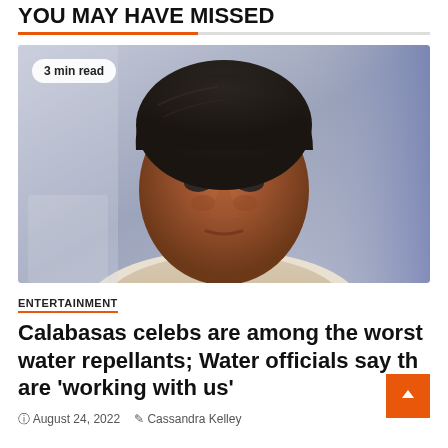YOU MAY HAVE MISSED
[Figure (photo): Close-up portrait photo of an older man with dark hair looking upward, against a blurred blue/purple background with partial text visible]
3 min read
ENTERTAINMENT
Calabasas celebs are among the worst water repellants; Water officials say they are 'working with us'
August 24, 2022   Cassandra Kelley